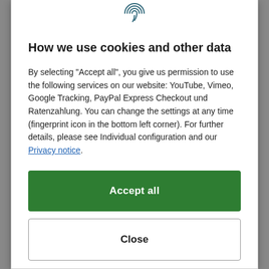[Figure (illustration): Fingerprint icon at the top center of the cookie consent modal]
How we use cookies and other data
By selecting "Accept all", you give us permission to use the following services on our website: YouTube, Vimeo, Google Tracking, PayPal Express Checkout und Ratenzahlung. You can change the settings at any time (fingerprint icon in the bottom left corner). For further details, please see Individual configuration and our Privacy notice.
Accept all
Close
Configuration